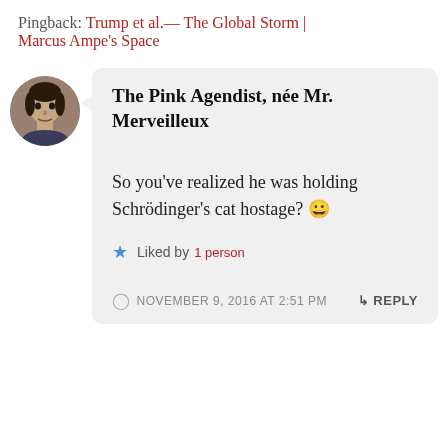Pingback: Trump et al. — The Global Storm | Marcus Ampe's Space
The Pink Agendist, née Mr. Merveilleux
So you've realized he was holding Schrödinger's cat hostage? 😀
Liked by 1 person
NOVEMBER 9, 2016 AT 2:51 PM
REPLY